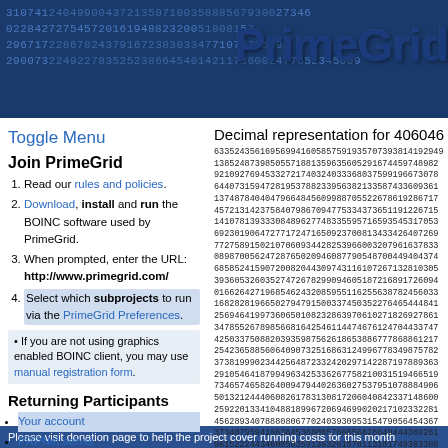[Figure (other): PrimeGrid website header banner with large numbers in dark blue background and PrimeGrid logo text]
Please visit donation page to help the project cover running costs for this month
Toggle Menu
Join PrimeGrid
Read our rules and policies.
Download, install and run the BOINC software used by PrimeGrid.
When prompted, enter the URL: http://www.primegrid.com/
Select which subprojects to run via the PrimeGrid Preferences.
If you are not using graphics enabled BOINC client, you may use manual registration form.
Returning Participants
Your account
PRPNet server
Manual Sieving
Create or Join a Team
Download BOINC
Applications
Make a donation
Community
Participant Profiles
Decimal representation for 40604624^3276...
633524356169569941605857591935707393814192949138524873985055718813596356052916744597489829210927694533272174032403336803759919667307864407315947281953788233956382133587433609361137487840404796648456099887055226786192867174957213142375840798670947753343736511912267159141078139333084896277483355957165935453170536923019064727717247165092370081343342640726977275891502107060934428253966003207961637833089870056247287650209460877905487004494043748585241590720082044309743116107267132810305339360532603527472678299094605187216891726094016624271968546243208595511625563878245603316828281966502794791500337450352276465444841256946419973606501082328639706102718269278613478552678985668164254611447467612470443374742503375088203935987562618653886777868861217254236588560640907325168631249967783498757823738199902344256487233242029714228719788936329104546418799496342533626775821003151946651973465746582640094794402636027537951078884906501321244060826178313081720604084233714860025922013341048818996720694699020217102332281456289340788808067702403930953154790564543673734079594106384536800576605662864944436926196152224434608503591363261878113181749363388960132071060219594794382988744337482730772148491074821307240664035939707643619830712403898154688241097664638137934936052356225648737791454578924741201932901983054985083835450264609...